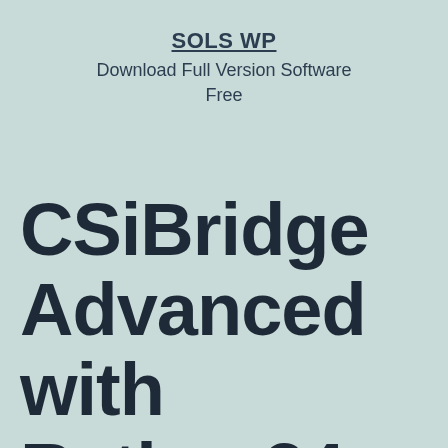SOLS WP
Download Full Version Software Free
CSiBridge Advanced with Rating 24 Free